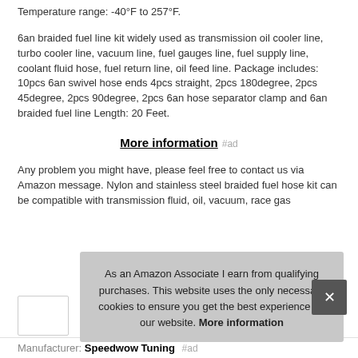Temperature range: -40°F to 257°F.
6an braided fuel line kit widely used as transmission oil cooler line, turbo cooler line, vacuum line, fuel gauges line, fuel supply line, coolant fluid hose, fuel return line, oil feed line. Package includes: 10pcs 6an swivel hose ends 4pcs straight, 2pcs 180degree, 2pcs 45degree, 2pcs 90degree, 2pcs 6an hose separator clamp and 6an braided fuel line Length: 20 Feet.
More information #ad
Any problem you might have, please feel free to contact us via Amazon message. Nylon and stainless steel braided fuel hose kit can be compatible with transmission fluid, oil, vacuum, race gas
As an Amazon Associate I earn from qualifying purchases. This website uses the only necessary cookies to ensure you get the best experience on our website. More information
Manufacturer: Speedwow Tuning #ad